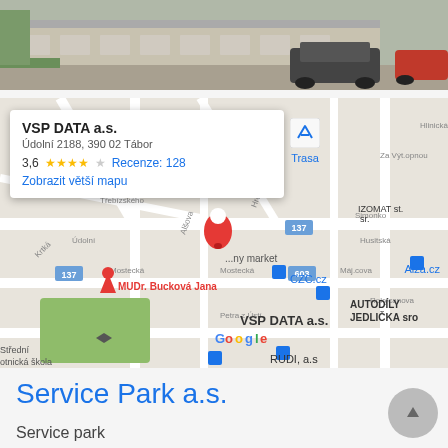[Figure (photo): Top photo of a building exterior with cars parked outside, showing a modern office or commercial building]
[Figure (map): Google Maps screenshot showing VSP DATA a.s. location in Tábor, Czech Republic. Info popup shows: VSP DATA a.s., Údolní 2188, 390 02 Tábor, rating 3.6 stars, 128 reviews, Zobrazit větší mapu link. Map shows surrounding streets and businesses including MUDr. Bucková Jana, CZC.cz, IZOMAT, Alza.cz, AUTODÍLY JEDLIČKA sro, RUDI a.s., BMK servis s.r.o. Tábor]
Service Park a.s.
Service park